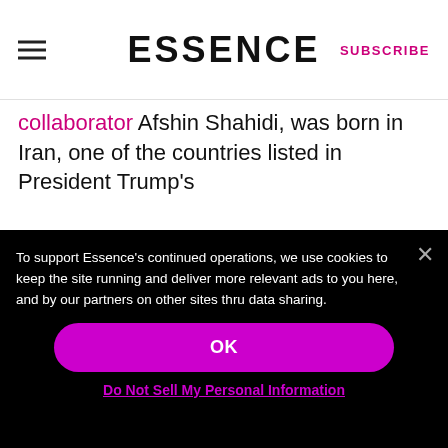ESSENCE | SUBSCRIBE
collaborator Afshin Shahidi, was born in Iran, one of the countries listed in President Trump's
To support Essence's continued operations, we use cookies to keep the site running and deliver more relevant ads to you here, and by our partners on other sites thru data sharing.

OK

Do Not Sell My Personal Information